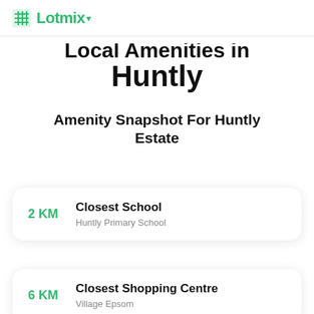Lotmix
Local Amenities in Huntly
Amenity Snapshot For Huntly Estate
2 KM — Closest School — Huntly Primary School
6 KM — Closest Shopping Centre — Village Epsom